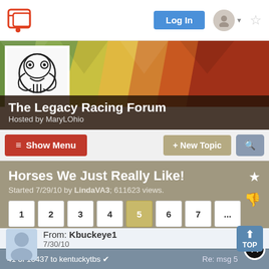Log In
The Legacy Racing Forum
Hosted by MaryLOhio
Show Menu
+ New Topic
Horses We Just Really Like!
Started 7/29/10 by LindaVA3; 611623 views.
1 2 3 4 5 6 7 ... 1042 1043 1044
41 of 10437 to kentuckytbs ✔   Re: msg 5
From: Kbuckeye1
7/30/10